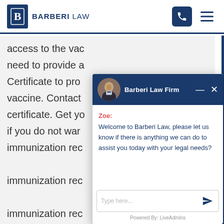BARBERI LAW
access to the vac... need to provide a... Certificate to pro... vaccine. Contact... certificate. Get yo... if you do not war... immunization rec... immunization rec... immunization rec... immunization rec... immunization rec... immunization rec... immunization rec...
[Figure (screenshot): Barberi Law Firm live chat widget with avatar, header, Zoe greeting message, and type input field. Chat message: 'Welcome to Barberi Law, please let us know if there is anything we can do to assist you today with your legal needs?' Powered By: LiveAdmins]